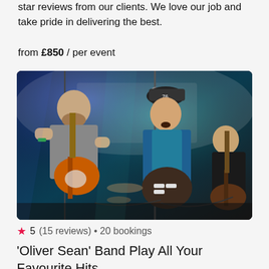star reviews from our clients. We love our job and take pride in delivering the best.
from £850 / per event
[Figure (photo): A live band performing on stage. On the left, a bald guitarist in a grey t-shirt plays an electric guitar with orange body. In the center, a singer wearing a cap and blue shirt sings into a microphone while playing a dark electric guitar. On the right, another band member plays a bass guitar. Stage lighting creates blue and teal hues in the background.]
5 (15 reviews) • 20 bookings
'Oliver Sean' Band Play All Your Favourite Hits